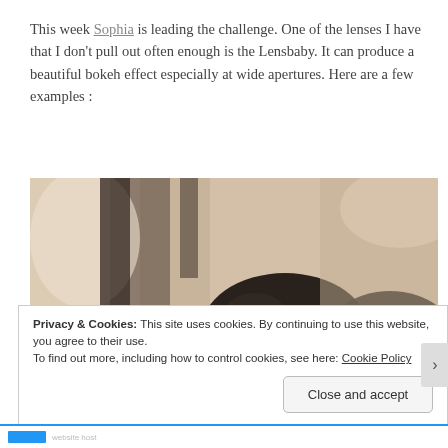This week Sophia is leading the challenge. One of the lenses I have that I don't pull out often enough is the Lensbaby. It can produce a beautiful bokeh effect especially at wide apertures. Here are a few examples :
[Figure (photo): A sepia-toned close-up photograph with bokeh effect showing dark circular lens-like shapes in the foreground against a blurred warm-toned background.]
Privacy & Cookies: This site uses cookies. By continuing to use this website, you agree to their use. To find out more, including how to control cookies, see here: Cookie Policy
Close and accept